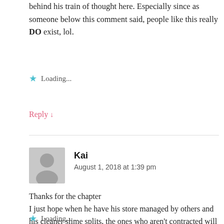behind his train of thought here. Especially since as someone below this comment said, people like this really DO exist, lol.
Loading...
Reply ↓
Kai
August 1, 2018 at 1:39 pm
Thanks for the chapter
I just hope when he have his store managed by others and his cleaner slime splits, the ones who aren't contracted will not become wild.
Loading...